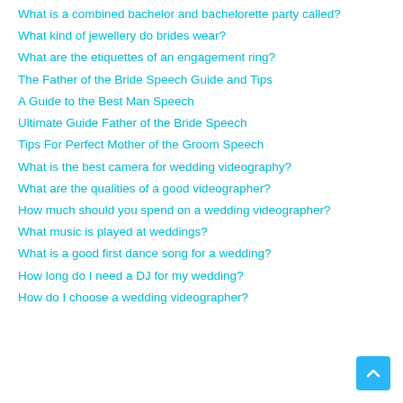What is a combined bachelor and bachelorette party called?
What kind of jewellery do brides wear?
What are the etiquettes of an engagement ring?
The Father of the Bride Speech Guide and Tips
A Guide to the Best Man Speech
Ultimate Guide Father of the Bride Speech
Tips For Perfect Mother of the Groom Speech
What is the best camera for wedding videography?
What are the qualities of a good videographer?
How much should you spend on a wedding videographer?
What music is played at weddings?
What is a good first dance song for a wedding?
How long do I need a DJ for my wedding?
How do I choose a wedding videographer?